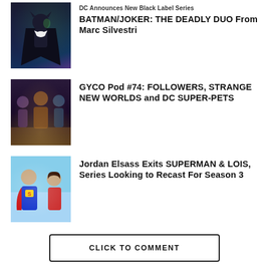[Figure (photo): Batman comic art thumbnail - dark blue/purple tones with Batman figure]
DC Announces New Black Label Series BATMAN/JOKER: THE DEADLY DUO From Marc Silvestri
[Figure (photo): Group of people thumbnail for Followers/Strange New Worlds/DC Super-Pets podcast]
GYCO Pod #74: FOLLOWERS, STRANGE NEW WORLDS and DC SUPER-PETS
[Figure (photo): Superman and Lois show thumbnail - blue sky background with Superman and woman]
Jordan Elsass Exits SUPERMAN & LOIS, Series Looking to Recast For Season 3
CLICK TO COMMENT
ADVERTISEMENT
LATEST
POPULAR
VIDEOS